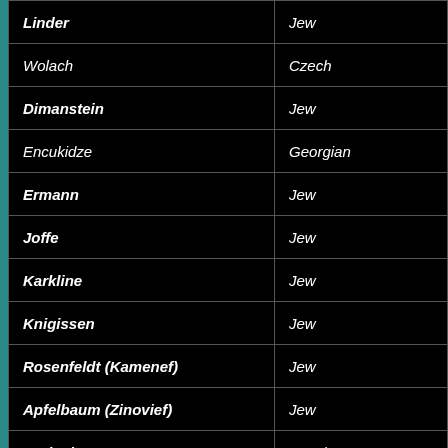| Name | Nationality |
| --- | --- |
| Linder | Jew |
| Wolach | Czech |
| Dimanstein | Jew |
| Encukidze | Georgian |
| Ermann | Jew |
| Joffe | Jew |
| Karkline | Jew |
| Knigissen | Jew |
| Rosenfeldt (Kamenef) | Jew |
| Apfelbaum (Zinovief) | Jew |
| Krylenko | Russian |
| KrassikofSachs | Jew |
| Kaprik | Jew |